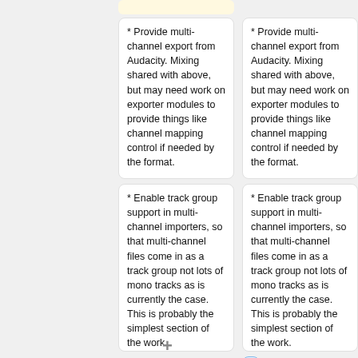* Provide multi-channel export from Audacity. Mixing shared with above, but may need work on exporter modules to provide things like channel mapping control if needed by the format.
* Provide multi-channel export from Audacity. Mixing shared with above, but may need work on exporter modules to provide things like channel mapping control if needed by the format.
* Enable track group support in multi-channel importers, so that multi-channel files come in as a track group not lots of mono tracks as is currently the case. This is probably the simplest section of the work.
* Enable track group support in multi-channel importers, so that multi-channel files come in as a track group not lots of mono tracks as is currently the case. This is probably the simplest section of the work.